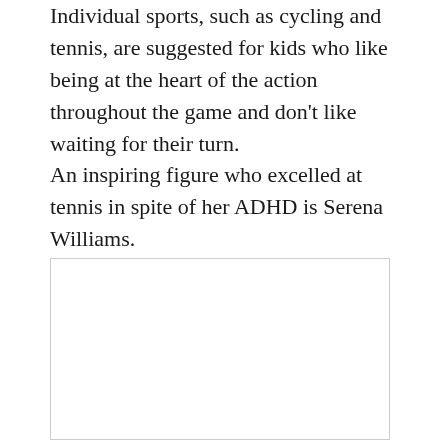Individual sports, such as cycling and tennis, are suggested for kids who like being at the heart of the action throughout the game and don't like waiting for their turn.
An inspiring figure who excelled at tennis in spite of her ADHD is Serena Williams.
[Figure (other): Empty white rectangle with light gray border, likely a placeholder for an image.]